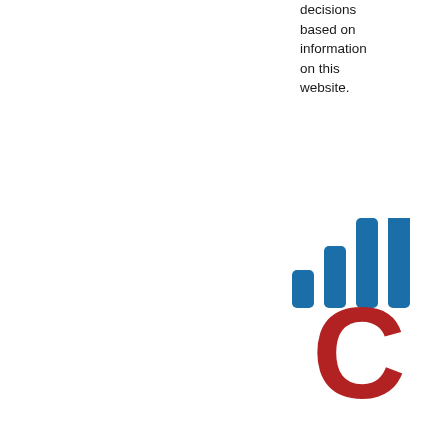decisions based on information on this website.
[Figure (logo): Cisco logo — blue signal bars above a red letter C, partially cropped on the right edge]
There are few companies with a record of growth in both revenue, earning, and stock price to match Cisco (CSCO). From the Cisco